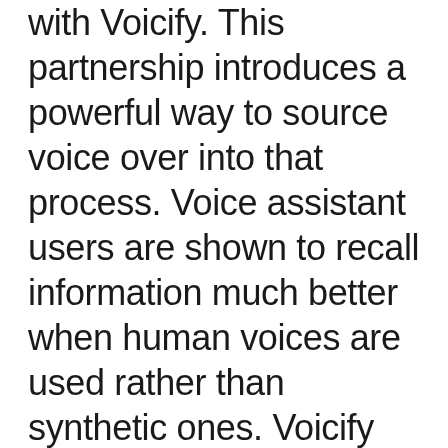with Voicify. This partnership introduces a powerful way to source voice over into that process. Voice assistant users are shown to recall information much better when human voices are used rather than synthetic ones. Voicify customers can now turn to Voices.com to source that human voice over for their conversation-based applications.